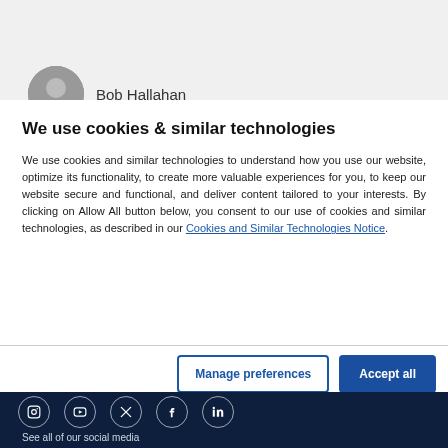[Figure (screenshot): Partially visible website content with a circular avatar photo and name 'Bob Hallahan' on a grey background banner]
We use cookies & similar technologies
We use cookies and similar technologies to understand how you use our website, optimize its functionality, to create more valuable experiences for you, to keep our website secure and functional, and deliver content tailored to your interests. By clicking on Allow All button below, you consent to our use of cookies and similar technologies, as described in our Cookies and Similar Technologies Notice.
[Figure (infographic): Two buttons: 'Manage preferences' with a blue border on white background, and 'Accept all' with a dark blue filled background]
[Figure (infographic): Dark navy footer with five circular social media icons: Instagram, YouTube, Twitter/X, Facebook, LinkedIn]
See all of our social media